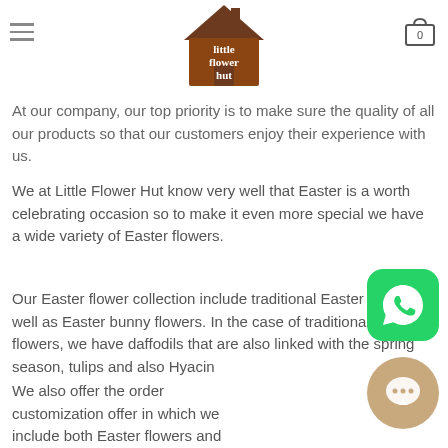Little Flower Hut - navigation header with logo and cart
Enjoy the Best Quality Easter Flowers
At our company, our top priority is to make sure the quality of all our products so that our customers enjoy their experience with us.
We at Little Flower Hut know very well that Easter is a worth celebrating occasion so to make it even more special we have a wide variety of Easter flowers.
Our Easter flower collection include traditional Easter flowers as well as Easter bunny flowers. In the case of traditional Easter flowers, we have daffodils that are also linked with the spring season, tulips and also Hyacin…
We also offer the order customization offer in which we include both Easter flowers and chocolates so that loved ones will also enjoy the sweetness of this fest…
[Figure (logo): Little Flower Hut logo - brown house shape with text]
[Figure (other): WhatsApp floating button - green rounded square with phone icon]
[Figure (other): Chat bubble floating button - beige/tan circle with chat icon]